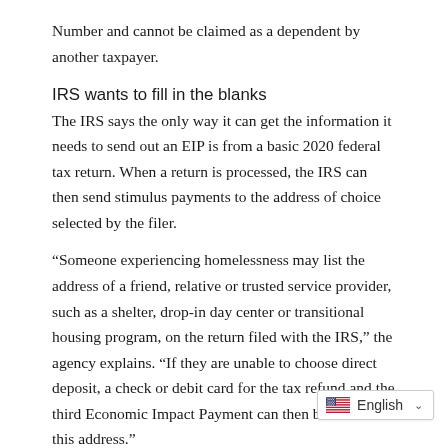Number and cannot be claimed as a dependent by another taxpayer.
IRS wants to fill in the blanks
The IRS says the only way it can get the information it needs to send out an EIP is from a basic 2020 federal tax return. When a return is processed, the IRS can then send stimulus payments to the address of choice selected by the filer.
“Someone experiencing homelessness may list the address of a friend, relative or trusted service provider, such as a shelter, drop-in day center or transitional housing program, on the return filed with the IRS,” the agency explains. “If they are unable to choose direct deposit, a check or debit card for the tax refund and the third Economic Impact Payment can then be mailed to this address.”